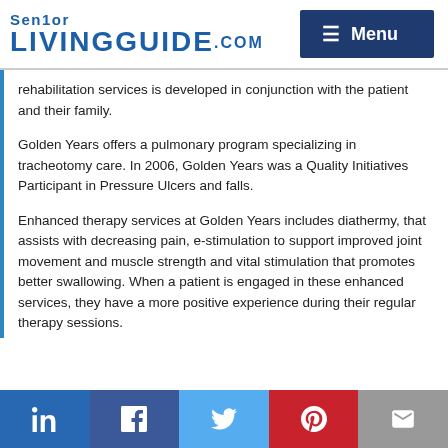Senior LIVINGGUIDE.com | Menu
rehabilitation services is developed in conjunction with the patient and their family.
Golden Years offers a pulmonary program specializing in tracheotomy care. In 2006, Golden Years was a Quality Initiatives Participant in Pressure Ulcers and falls.
Enhanced therapy services at Golden Years includes diathermy, that assists with decreasing pain, e-stimulation to support improved joint movement and muscle strength and vital stimulation that promotes better swallowing. When a patient is engaged in these enhanced services, they have a more positive experience during their regular therapy sessions.
LinkedIn | Facebook | Twitter | Pinterest | Email